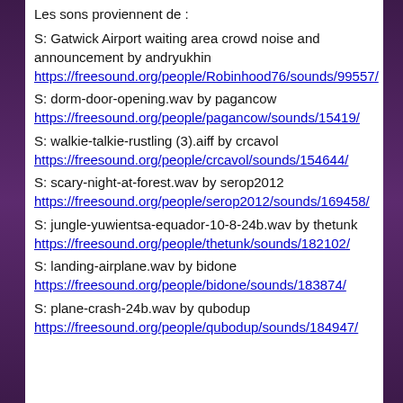Les sons proviennent de :
S: Gatwick Airport waiting area crowd noise and announcement by andryukhin https://freesound.org/people/Robinhood76/sounds/99557/
S: dorm-door-opening.wav by pagancow https://freesound.org/people/pagancow/sounds/15419/
S: walkie-talkie-rustling (3).aiff by crcavol https://freesound.org/people/crcavol/sounds/154644/
S: scary-night-at-forest.wav by serop2012 https://freesound.org/people/serop2012/sounds/169458/
S: jungle-yuwientsa-equador-10-8-24b.wav by thetunk https://freesound.org/people/thetunk/sounds/182102/
S: landing-airplane.wav by bidone https://freesound.org/people/bidone/sounds/183874/
S: plane-crash-24b.wav by qubodup https://freesound.org/people/qubodup/sounds/184947/